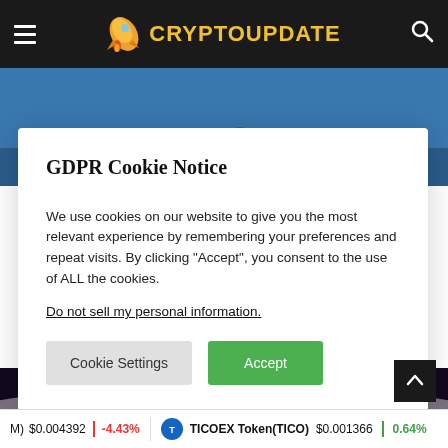CRYPTOUPDATE
[Figure (illustration): Illustrated scene on blue background showing cartoon figures, partial view at top]
GDPR Cookie Notice
We use cookies on our website to give you the most relevant experience by remembering your preferences and repeat visits. By clicking “Accept”, you consent to the use of ALL the cookies.
Do not sell my personal information.
[Figure (illustration): Moon/space scene illustration - bottom portion showing astronaut and moon surface]
(M) $0.004392 -4.43% TICOEX Token(TICO) $0.001366 0.64%